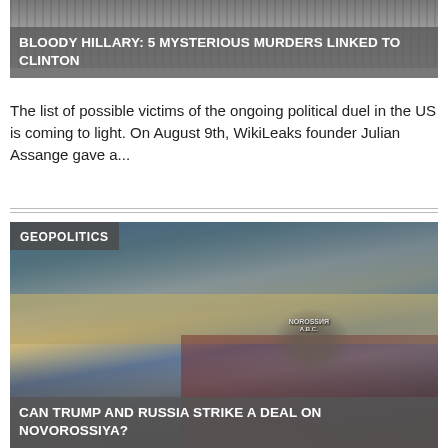[Figure (photo): Cropped photo of a person, partially visible at top of first article]
BLOODY HILLARY: 5 MYSTERIOUS MURDERS LINKED TO CLINTON
The list of possible victims of the ongoing political duel in the US is coming to light. On August 9th, WikiLeaks founder Julian Assange gave a...
[Figure (photo): Image of Ukraine/Novorossiya map with flag colors and an eagle emblem, labeled with Cyrillic text, category tag GEOPOLITICS]
CAN TRUMP AND RUSSIA STRIKE A DEAL ON NOVOROSSIYA?